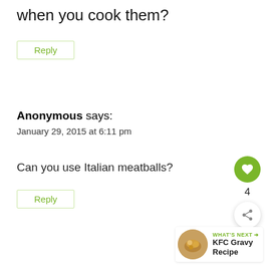when you cook them?
Reply
Anonymous says:
January 29, 2015 at 6:11 pm
Can you use Italian meatballs?
Reply
[Figure (infographic): Heart/like button (green circle with heart icon), count '4', and share button (white circle with share icon)]
WHAT'S NEXT → KFC Gravy Recipe